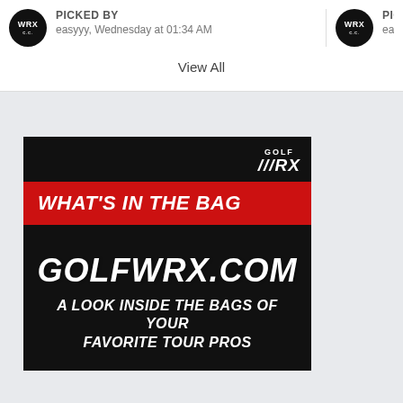PICKED BY
easyyy, Wednesday at 01:34 AM
PICKED BY
easyy
View All
[Figure (illustration): GolfWRX advertisement banner. Dark background with GOLF WRX logo in top right. Red diagonal banner reading WHAT'S IN THE BAG. Large white italic text GOLFWRX.COM. Below: A LOOK INSIDE THE BAGS OF YOUR FAVORITE TOUR PROS]